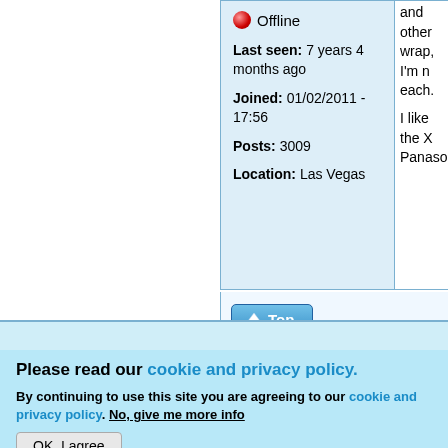🔴 Offline
Last seen: 7 years 4 months ago
Joined: 01/02/2011 - 17:56
Posts: 3009
Location: Las Vegas
and other
wrap, I'm n
each.

I like the X
Panasoni

notbattery

No referral
Top
Please read our cookie and privacy policy.
By continuing to use this site you are agreeing to our cookie and privacy policy. No, give me more info
OK, I agree